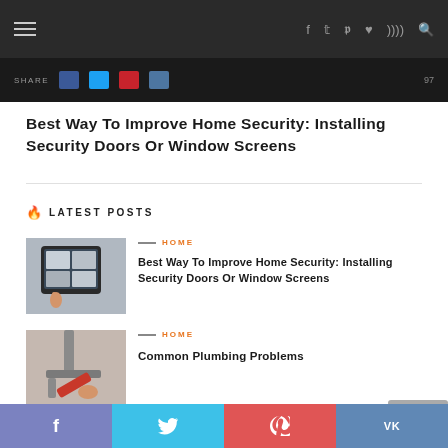Navigation bar with hamburger menu and social icons
[Figure (screenshot): Share bar with share icons and count over dark background]
Best Way To Improve Home Security: Installing Security Doors Or Window Screens
LATEST POSTS
[Figure (photo): Tablet showing smart home security camera feeds, hand pointing at screen]
HOME
Best Way To Improve Home Security: Installing Security Doors Or Window Screens
[Figure (photo): Person using red wrench on plumbing pipes under sink]
HOME
Common Plumbing Problems
f  Twitter  Pinterest  VK social sharing bar